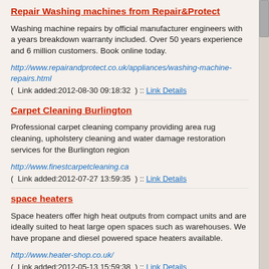Repair Washing machines from Repair&Protect
Washing machine repairs by official manufacturer engineers with a years breakdown warranty included. Over 50 years experience and 6 million customers. Book online today.
http://www.repairandprotect.co.uk/appliances/washing-machine-repairs.html
(  Link added:2012-08-30 09:18:32  ) :: Link Details
Carpet Cleaning Burlington
Professional carpet cleaning company providing area rug cleaning, upholstery cleaning and water damage restoration services for the Burlington region
http://www.finestcarpetcleaning.ca
(  Link added:2012-07-27 13:59:35  ) :: Link Details
space heaters
Space heaters offer high heat outputs from compact units and are ideally suited to heat large open spaces such as warehouses. We have propane and diesel powered space heaters available.
http://www.heater-shop.co.uk/
(  Link added:2012-05-13 15:59:38  ) :: Link Details
Opal Enterprises
Professional exterior home remodeling services including roofing,